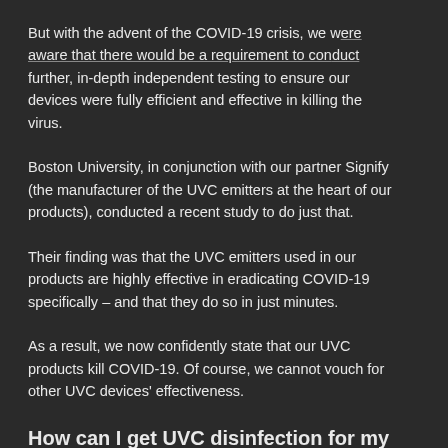But with the advent of the COVID-19 crisis, we were aware that there would be a requirement to conduct further, in-depth independent testing to ensure our devices were fully efficient and effective in killing the virus.
Boston University, in conjunction with our partner Signify (the manufacturer of the UVC emitters at the heart of our products), conducted a recent study to do just that.
Their finding was that the UVC emitters used in our products are highly effective in eradicating COVID-19 specifically – and that they do so in just minutes.
As a result, we now confidently state that our UVC products kill COVID-19. Of course, we cannot vouch for other UVC devices' effectiveness.
How can I get UVC disinfection for my